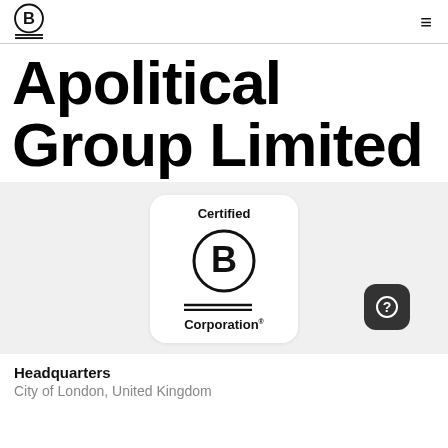[Figure (logo): B Corporation logo in header - circle with letter B inside and two horizontal lines beneath]
Apolitical Group Limited
[Figure (logo): Certified B Corporation logo on white rounded card against light grey background, with a circular help/question badge to the right]
Headquarters
City of London, United Kingdom